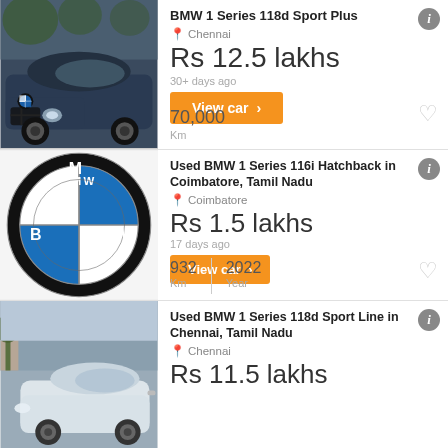[Figure (photo): Dark blue BMW 1 Series car photo]
BMW 1 Series 118d Sport Plus
Chennai
Rs 12.5 lakhs
30+ days ago
View car >
70,000 Km
[Figure (logo): BMW circular logo with black, white and blue quadrants]
Used BMW 1 Series 116i Hatchback in Coimbatore, Tamil Nadu
Coimbatore
Rs 1.5 lakhs
17 days ago
View car >
932 Km
2022 Year
[Figure (photo): White BMW 1 Series in urban setting]
Used BMW 1 Series 118d Sport Line in Chennai, Tamil Nadu
Chennai
Rs 11.5 lakhs